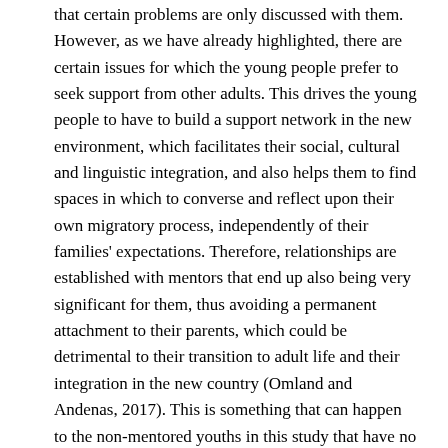that certain problems are only discussed with them. However, as we have already highlighted, there are certain issues for which the young people prefer to seek support from other adults. This drives the young people to have to build a support network in the new environment, which facilitates their social, cultural and linguistic integration, and also helps them to find spaces in which to converse and reflect upon their own migratory process, independently of their families' expectations. Therefore, relationships are established with mentors that end up also being very significant for them, thus avoiding a permanent attachment to their parents, which could be detrimental to their transition to adult life and their integration in the new country (Omland and Andenas, 2017). This is something that can happen to the non-mentored youths in this study that have no mentors that counteract this lack of social support to